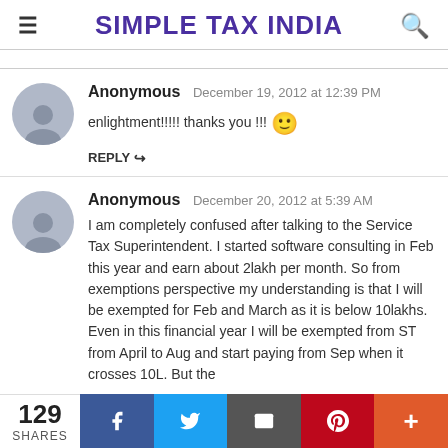SIMPLE TAX INDIA
Anonymous  December 19, 2012 at 12:39 PM
enlightment!!!!! thanks you !!!
REPLY
Anonymous  December 20, 2012 at 5:39 AM
I am completely confused after talking to the Service Tax Superintendent. I started software consulting in Feb this year and earn about 2lakh per month. So from exemptions perspective my understanding is that I will be exempted for Feb and March as it is below 10lakhs. Even in this financial year I will be exempted from ST from April to Aug and start paying from Sep when it crosses 10L. But the
129 SHARES | Facebook | Twitter | Email | Pinterest | +